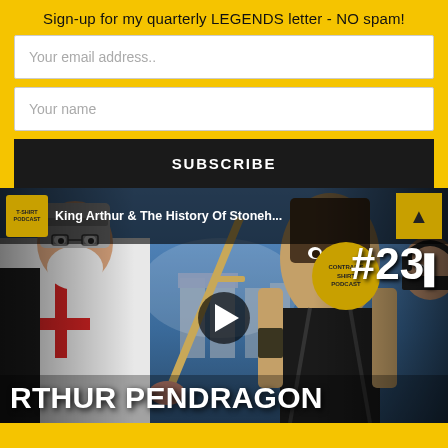Sign-up for my quarterly LEGENDS letter - NO spam!
Your email address..
Your name
SUBSCRIBE
[Figure (screenshot): YouTube video thumbnail showing podcast episode #233 about King Arthur & The History Of Stoneh... with RTHUR PENDRAGON text at bottom, featuring an older man with white beard in costume, a woman warrior with a sword, and a man with headphones. A play button is visible in the center.]